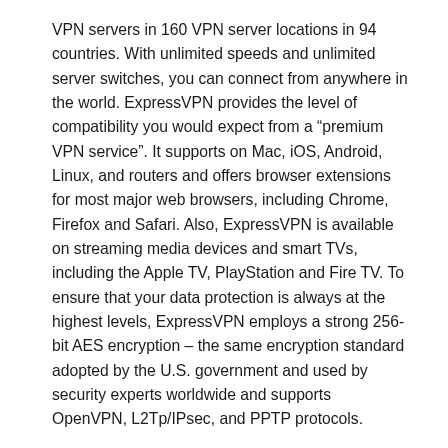VPN servers in 160 VPN server locations in 94 countries. With unlimited speeds and unlimited server switches, you can connect from anywhere in the world. ExpressVPN provides the level of compatibility you would expect from a "premium VPN service". It supports on Mac, iOS, Android, Linux, and routers and offers browser extensions for most major web browsers, including Chrome, Firefox and Safari. Also, ExpressVPN is available on streaming media devices and smart TVs, including the Apple TV, PlayStation and Fire TV. To ensure that your data protection is always at the highest levels, ExpressVPN employs a strong 256-bit AES encryption – the same encryption standard adopted by the U.S. government and used by security experts worldwide and supports OpenVPN, L2Tp/IPsec, and PPTP protocols.
ExpressVPN is a fantastic way of allowing users to